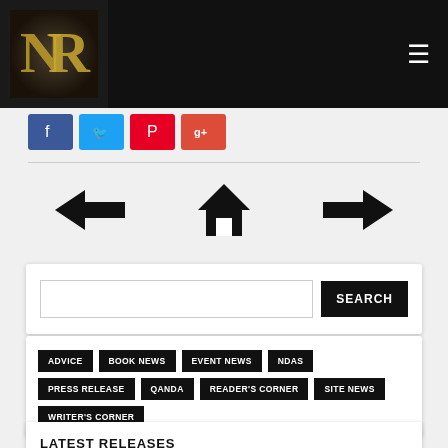Site header with logo and hamburger menu
[Figure (logo): Logo with stylized letters DR in gold on dark background]
[Figure (infographic): Social sharing buttons: Facebook (blue), Twitter (blue), Pinterest (red), Google+ (red)]
[Figure (infographic): Navigation row with left arrow, home icon, and right arrow]
SEARCH (search input bar with Search button)
ADVICE  BOOK NEWS  EVENT NEWS  NDAS  PRESS RELEASE  QANDA  READER'S CORNER  SITE NEWS  WRITER'S CORNER
LATEST RELEASES